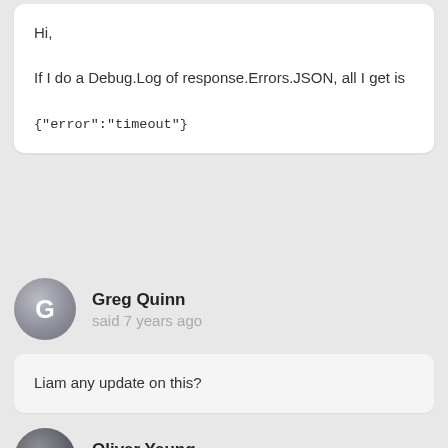Hi,

If I do a Debug.Log of response.Errors.JSON, all I get is

{"error":"timeout"}
Greg Quinn said 7 years ago
Liam any update on this?
Oliver Yeung said 7 years ago
ANSWER
Hi Greg,

I've been doing some testing with timeouts and my conclusion is that whatever value you specify through SetMaxResponseTimeInSeconds() gets overridden (or simply not set). While offline, I started a